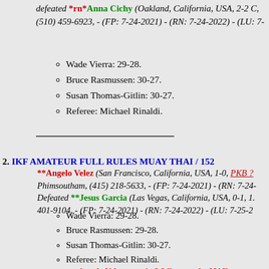defeated *rn*Anna Cichy (Oakland, California, USA, 2-2 C, (510) 459-6923, - (FP: 7-24-2021) - (RN: 7-24-2022) - (LU: 7-
Wade Vierra: 29-28.
Bruce Rasmussen: 30-27.
Susan Thomas-Gitlin: 30-27.
Referee: Michael Rinaldi.
2. IKF AMATEUR FULL RULES MUAY THAI / 152
**Angelo Velez (San Francisco, California, USA, 1-0, PKB ? Phimsoutham, (415) 218-5633, - (FP: 7-24-2021) - (RN: 7-24- Defeated **Jesus Garcia (Las Vegas, California, USA, 0-1, 1. 401-9104, - (FP: 7-24-2021) - (RN: 7-24-2022) - (LU: 7-25-2
Wade Vierra: 29-28.
Bruce Rasmussen: 29-28.
Susan Thomas-Gitlin: 30-27.
Referee: Michael Rinaldi.
Angelo Velez came in 3.2 lbs over the MAX we Angelo Velez has been issued a 3 Month Discip Max Limit) from Competition until October 24